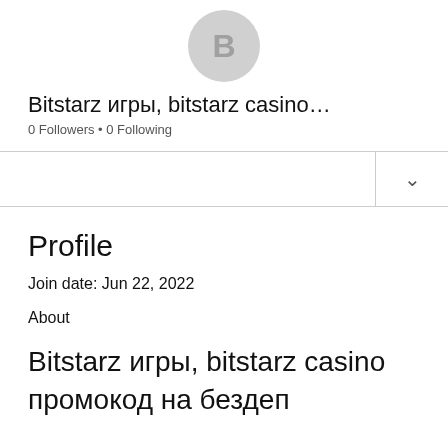[Figure (illustration): Circular avatar placeholder with letter B on grey background]
Bitstarz игры, bitstarz casino…
0 Followers • 0 Following
Profile
Join date: Jun 22, 2022
About
Bitstarz игры, bitstarz casino промокод на бездеп